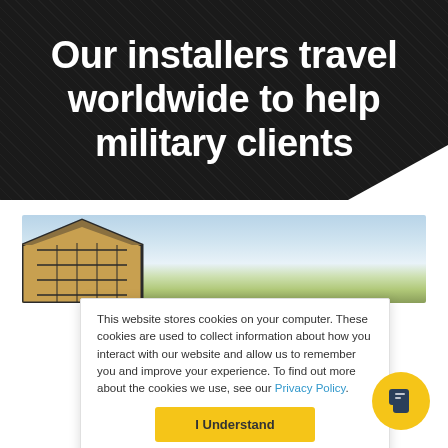Our installers travel worldwide to help military clients
[Figure (photo): Partial view of a building rooftop with solar panels against a blue sky with clouds]
This website stores cookies on your computer. These cookies are used to collect information about how you interact with our website and allow us to remember you and improve your experience. To find out more about the cookies we use, see our Privacy Policy.